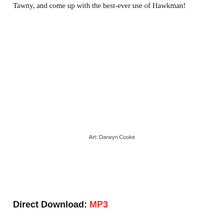Tawny, and come up with the best-ever use of Hawkman!
[Figure (illustration): Comic book style illustration of superhero characters playing instruments on a stage. A female hero in red plays guitar at center, a yellow character flips in the air on the left, a character in red plays drums in the back, and a character in green and red poses on the right. Stage lighting and a city skyline visible in the background.]
Art: Darwyn Cooke
Direct Download: MP3